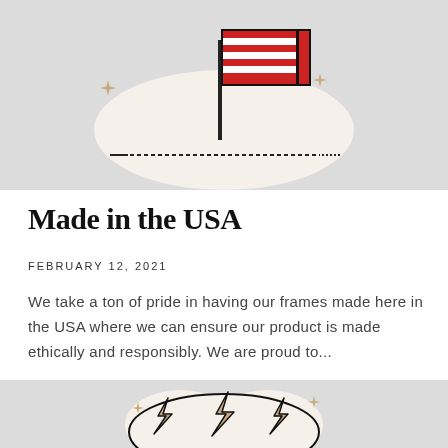[Figure (illustration): Illustration of an American flag on a pole, set on a white blob shape with sparkle decorations, on a light gray background. A dark horizontal baseline runs below.]
Made in the USA
FEBRUARY 12, 2021
We take a ton of pride in having our frames made here in the USA where we can ensure our product is made ethically and responsibly. We are proud to...
[Figure (illustration): Illustration of a cloud with lightning bolt symbols around it, with sparkle decorations, on a light gray background — partially visible at bottom of page.]